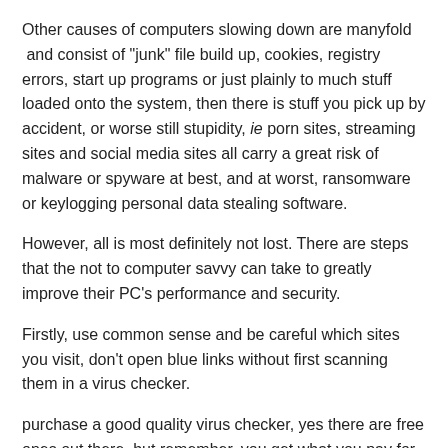Other causes of computers slowing down are manyfold and consist of "junk" file build up, cookies, registry errors, start up programs or just plainly to much stuff loaded onto the system, then there is stuff you pick up by accident, or worse still stupidity, ie porn sites, streaming sites and social media sites all carry a great risk of malware or spyware at best, and at worst, ransomware or keylogging personal data stealing software.
However, all is most definitely not lost. There are steps that the not to computer savvy can take to greatly improve their PC's performance and security.
Firstly, use common sense and be careful which sites you visit, don't open blue links without first scanning them in a virus checker.
purchase a good quality virus checker, yes there are free ones out there, but remember, you get what you pay for, so do yourself a favour and buy a good one.
Then download these two programs, both have free versions for personal use, and both are very easy to use. Use them very regularly and they will do a great job of keeping your pc virus free